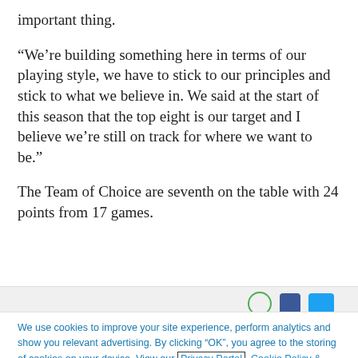important thing.
“We’re building something here in terms of our playing style, we have to stick to our principles and stick to what we believe in. We said at the start of this season that the top eight is our target and I believe we’re still on track for where we want to be.”
The Team of Choice are seventh on the table with 24 points from 17 games.
We use cookies to improve your site experience, perform analytics and show you relevant advertising. By clicking “OK”, you agree to the storing of cookies on your device. View our Privacy Portal Cookie Policy & Cookie FAQs